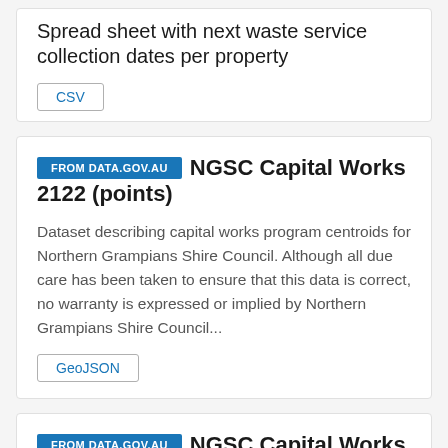Spread sheet with next waste service collection dates per property
CSV
FROM DATA.GOV.AU
NGSC Capital Works 2122 (points)
Dataset describing capital works program centroids for Northern Grampians Shire Council. Although all due care has been taken to ensure that this data is correct, no warranty is expressed or implied by Northern Grampians Shire Council...
GeoJSON
FROM DATA.GOV.AU
NGSC Capital Works 2122 (Polygons)